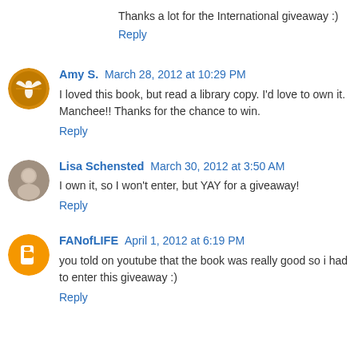Thanks a lot for the International giveaway :)
Reply
Amy S. March 28, 2012 at 10:29 PM
I loved this book, but read a library copy. I'd love to own it. Manchee!! Thanks for the chance to win.
Reply
Lisa Schensted March 30, 2012 at 3:50 AM
I own it, so I won't enter, but YAY for a giveaway!
Reply
FANofLIFE April 1, 2012 at 6:19 PM
you told on youtube that the book was really good so i had to enter this giveaway :)
Reply